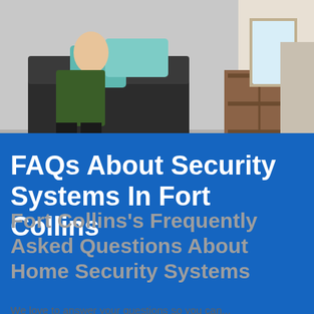[Figure (photo): Photo of people sitting on a porch or entryway with a yellow toy, wooden crate, and outdoor furniture in the background]
FAQs About Security Systems In Fort Collins
Fort Collins's Frequently Asked Questions About Home Security Systems
We love to answer your questions so you can...